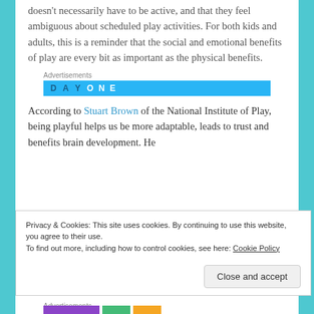doesn't necessarily have to be active, and that they feel ambiguous about scheduled play activities. For both kids and adults, this is a reminder that the social and emotional benefits of play are every bit as important as the physical benefits.
[Figure (other): Advertisement banner with 'DAY ONE' text on a light blue background]
According to Stuart Brown of the National Institute of Play, being playful helps us be more adaptable, leads to trust and benefits brain development. He
Privacy & Cookies: This site uses cookies. By continuing to use this website, you agree to their use. To find out more, including how to control cookies, see here: Cookie Policy